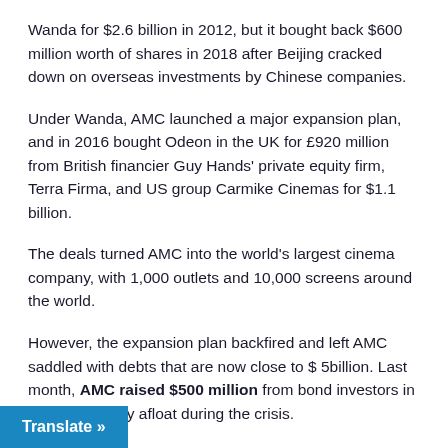Wanda for $2.6 billion in 2012, but it bought back $600 million worth of shares in 2018 after Beijing cracked down on overseas investments by Chinese companies.
Under Wanda, AMC launched a major expansion plan, and in 2016 bought Odeon in the UK for £920 million from British financier Guy Hands' private equity firm, Terra Firma, and US group Carmike Cinemas for $1.1 billion.
The deals turned AMC into the world's largest cinema company, with 1,000 outlets and 10,000 screens around the world.
However, the expansion plan backfired and left AMC saddled with debts that are now close to $ 5billion. Last month, AMC raised $500 million from bond investors in an effort to stay afloat during the crisis.
Translate »